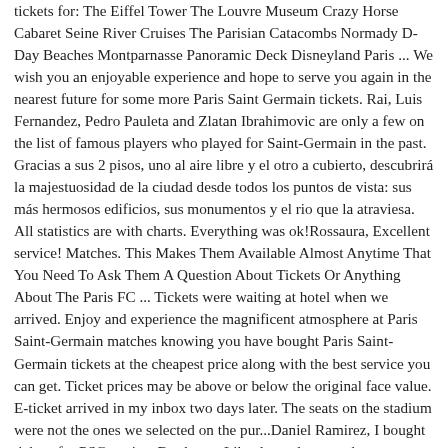tickets for: The Eiffel Tower The Louvre Museum Crazy Horse Cabaret Seine River Cruises The Parisian Catacombs Normady D-Day Beaches Montparnasse Panoramic Deck Disneyland Paris ... We wish you an enjoyable experience and hope to serve you again in the nearest future for some more Paris Saint Germain tickets. Rai, Luis Fernandez, Pedro Pauleta and Zlatan Ibrahimovic are only a few on the list of famous players who played for Saint-Germain in the past. Gracias a sus 2 pisos, uno al aire libre y el otro a cubierto, descubrirá la majestuosidad de la ciudad desde todos los puntos de vista: sus más hermosos edificios, sus monumentos y el rio que la atraviesa. All statistics are with charts. Everything was ok!Rossaura, Excellent service! Matches. This Makes Them Available Almost Anytime That You Need To Ask Them A Question About Tickets Or Anything About The Paris FC ... Tickets were waiting at hotel when we arrived. Enjoy and experience the magnificent atmosphere at Paris Saint-Germain matches knowing you have bought Paris Saint-Germain tickets at the cheapest price along with the best service you can get. Ticket prices may be above or below the original face value. E-ticket arrived in my inbox two days later. The seats on the stadium were not the ones we selected on the pur...Daniel Ramirez, I bought tickets for PSG against Bordeaux. Like the updates on the ticke...DamienDoyle, It was an easy and fast way to great football matches. Choose your desirable Paris